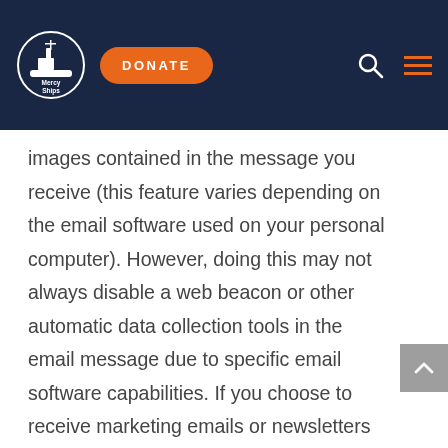Mercy Ships — Navigation bar with logo, DONATE button, search icon, and hamburger menu
images contained in the message you receive (this feature varies depending on the email software used on your personal computer). However, doing this may not always disable a web beacon or other automatic data collection tools in the email message due to specific email software capabilities. If you choose to receive marketing emails or newsletters from us, we may automatically collect this information about you. For